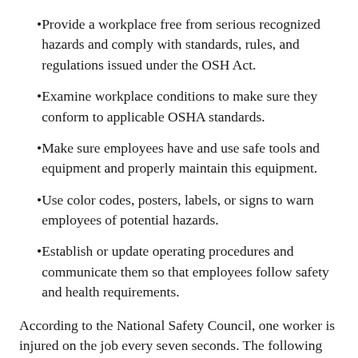Provide a workplace free from serious recognized hazards and comply with standards, rules, and regulations issued under the OSH Act.
Examine workplace conditions to make sure they conform to applicable OSHA standards.
Make sure employees have and use safe tools and equipment and properly maintain this equipment.
Use color codes, posters, labels, or signs to warn employees of potential hazards.
Establish or update operating procedures and communicate them so that employees follow safety and health requirements.
According to the National Safety Council, one worker is injured on the job every seven seconds. The following are construction industry statistics that Queens